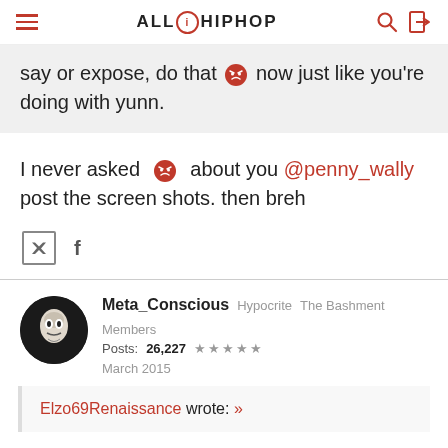ALL HIP HOP
say or expose, do that 😡 now just like you're doing with yunn.
I never asked 😡 about you @penny_wally post the screen shots. then breh
Meta_Conscious  Hypocrite  The Bashment  Members  Posts: 26,227 ★★★★★  March 2015
Elzo69Renaissance wrote: »